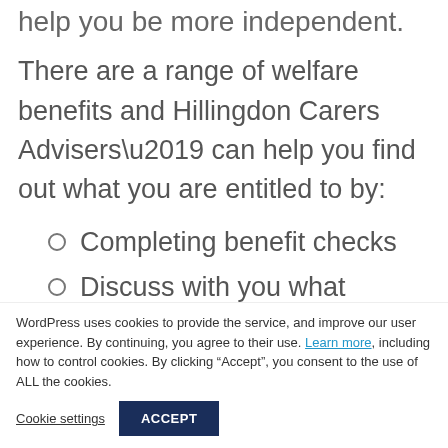help you be more independent.
There are a range of welfare benefits and Hillingdon Carers Advisers’ can help you find out what you are entitled to by:
Completing benefit checks
Discuss with you what benefits you could be entitled to
WordPress uses cookies to provide the service, and improve our user experience. By continuing, you agree to their use. Learn more, including how to control cookies. By clicking “Accept”, you consent to the use of ALL the cookies.
Cookie settings
ACCEPT